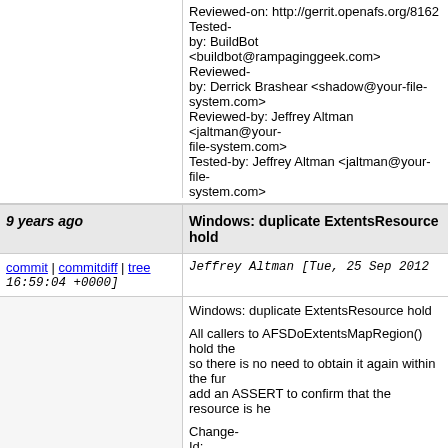Reviewed-on: http://gerrit.openafs.org/8162
Tested-by: BuildBot <buildbot@rampaginggeek.com>
Reviewed-by: Derrick Brashear <shadow@your-file-system.com>
Reviewed-by: Jeffrey Altman <jaltman@your-file-system.com>
Tested-by: Jeffrey Altman <jaltman@your-file-system.com>
9 years ago | Windows: duplicate ExtentsResource hold
commit | commitdiff | tree  Jeffrey Altman [Tue, 25 Sep 2012 16:59:04 +0000]
Windows: duplicate ExtentsResource hold

All callers to AFSDoExtentsMapRegion() hold the so there is no need to obtain it again within the fur add an ASSERT to confirm that the resource is he

Change-Id: Id34a3d650062d6e519a66732d248c136a92e4
Reviewed-on: http://gerrit.openafs.org/8161
Tested-by: BuildBot <buildbot@rampaginggeek.com>
Reviewed-by: Derrick Brashear <shadow@your-file-